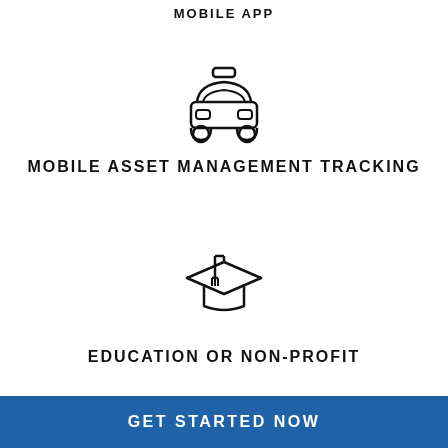MOBILE APP
[Figure (illustration): Icon of a car/taxi viewed from the front, with rounded body, headlights, and a small light on top, drawn in outline style]
MOBILE ASSET MANAGEMENT TRACKING
[Figure (illustration): Icon of a graduation cap (mortarboard) with tassel, drawn in outline style]
EDUCATION OR NON-PROFIT
GET STARTED NOW